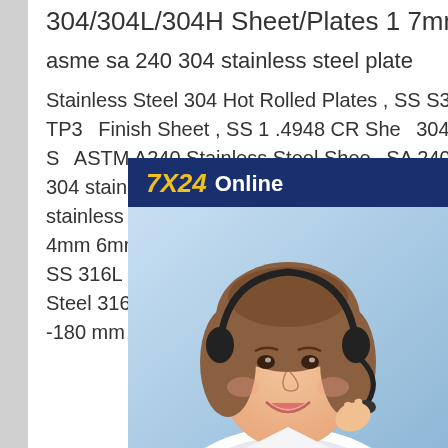304/304L/304H Sheet/Plates 1 7mm
asme sa 240 304 stainless steel plate
Stainless Steel 304 Hot Rolled Plates , SS S30409 Plates , ASTM A240 TP3... Finish Sheet , SS 1 .4948 CR She... 304H Stainless Steel Perforated S... ASTM A240 Stainless Steel Shee... SA 240 Plate/ Coil 1 7mm asme s... 304 stainless steel plate1 .2mm t... decorative mirror 2B sandblasted... stainless steel perforated sheet . ... SA240 2B stainless steel plate 1m... 4mm 6mm thick. SS colored ASTM A240 Type 316L Stainless Steel Sheet SS 316L Plate 1 7mm asme sa 240 304 stainless steel plateStainless Steel 316L Sheet as per American & European Standards in Thickness 0.1 -180 mm . stock of ASTM
[Figure (photo): Customer service representative with headset, smiling, shown in chat widget overlay with '7X24 Online' header, 'Hello, may I help you?' message, and 'Get Latest Price' button]